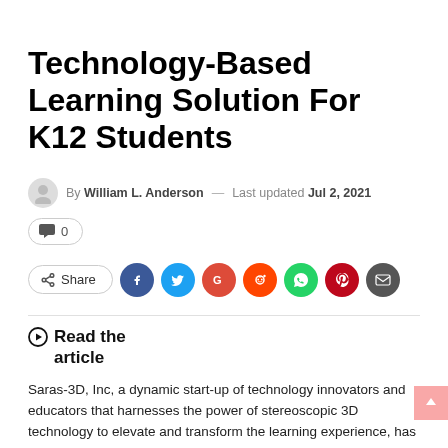Technology-Based Learning Solution For K12 Students
By William L. Anderson — Last updated Jul 2, 2021
[Figure (infographic): Comment count button showing 0, Share button with social media icons for Facebook, Twitter, Google+, Reddit, WhatsApp, Pinterest, and Email]
Read the article
Saras-3D, Inc, a dynamic start-up of technology innovators and educators that harnesses the power of stereoscopic 3D technology to elevate and transform the learning experience, has launched an innovative learning solution, Genius 3D launcher. Saras 3D has made it all in fact to ensure a 3D